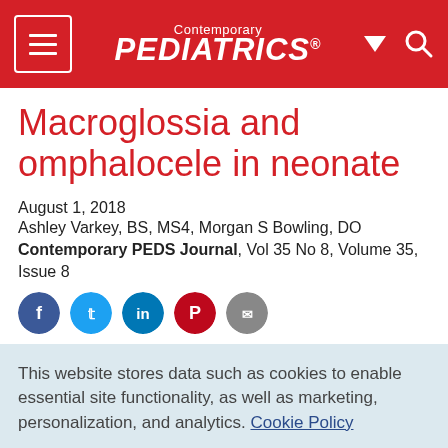Contemporary PEDIATRICS
Macroglossia and omphalocele in neonate
August 1, 2018
Ashley Varkey, BS, MS4, Morgan S Bowling, DO
Contemporary PEDS Journal, Vol 35 No 8, Volume 35, Issue 8
[Figure (other): Social media sharing icons row: Facebook (dark blue), Twitter (light blue), LinkedIn (blue), Pinterest (red), and a gray share icon]
This website stores data such as cookies to enable essential site functionality, as well as marketing, personalization, and analytics. Cookie Policy
Accept
Deny